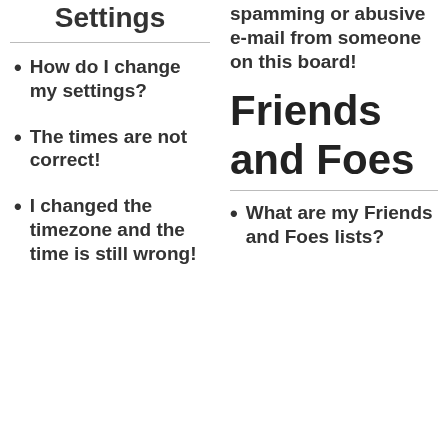Settings
How do I change my settings?
The times are not correct!
I changed the timezone and the time is still wrong!
spamming or abusive e-mail from someone on this board!
Friends and Foes
What are my Friends and Foes lists?
Search for
1. WALK IN SHOWER FOR ELDERLY
2. BEST HEAT PUMPS